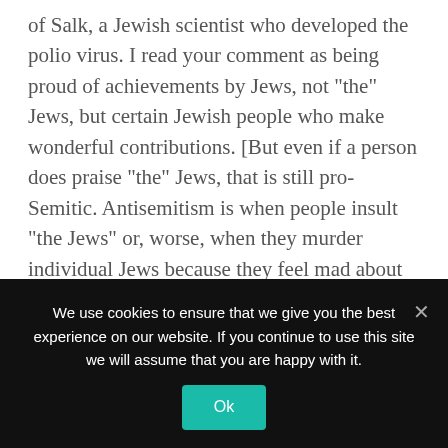of Salk, a Jewish scientist who developed the polio virus. I read your comment as being proud of achievements by Jews, not “the” Jews, but certain Jewish people who make wonderful contributions. [But even if a person does praise “the” Jews, that is still pro-Semitic. Antisemitism is when people insult “the Jews” or, worse, when they murder individual Jews because they feel mad about “the” Jews.]
Andy Bruziewicz
June 21, 2020 at 1:38 pm
We use cookies to ensure that we give you the best experience on our website. If you continue to use this site we will assume that you are happy with it.